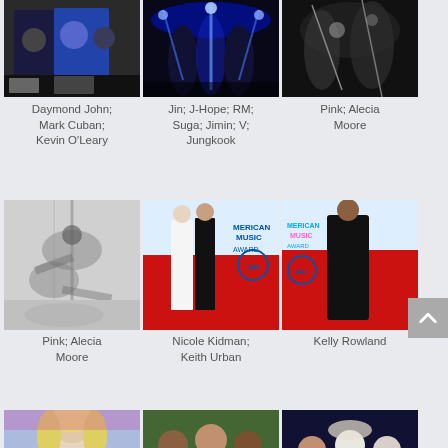[Figure (photo): Daymond John, Mark Cuban, Kevin O'Leary at event on stage]
[Figure (photo): BTS members Jin, J-Hope, RM, Suga, Jimin, V, Jungkook performing on stage with blue lights]
[Figure (photo): Pink (Alecia Moore) performing aerial acrobatics on stage]
Daymond John; Mark Cuban; Kevin O'Leary
Jin; J-Hope; RM; Suga; Jimin; V; Jungkook
Pink; Alecia Moore
[Figure (photo): Pink (Alecia Moore) performing aerial pole acrobatics in black and white]
[Figure (photo): Nicole Kidman and Keith Urban on the red carpet at American Music Awards]
[Figure (photo): Kelly Rowland on the red carpet at American Music Awards]
Pink; Alecia Moore
Nicole Kidman; Keith Urban
Kelly Rowland
[Figure (photo): Nicole Kidman close-up at American Music Awards]
[Figure (photo): Group of women at an event]
[Figure (photo): Group of women at an event with stage lights]